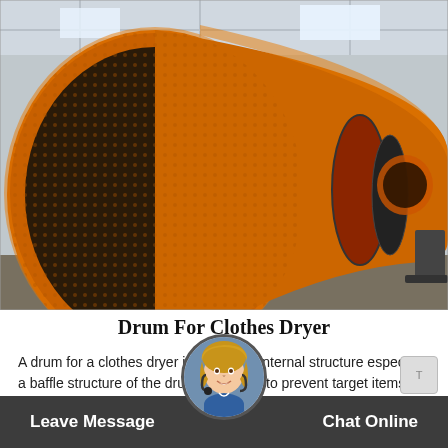[Figure (photo): Large orange rotary drum dryer machine photographed in an industrial warehouse. The cylindrical drum with a large circular opening is prominent in the foreground, tapering toward the back of the facility.]
Drum For Clothes Dryer
A drum for a clothes dryer improves internal structure especially a baffle structure of the drum is improved to prevent target items...
[Figure (photo): Circular avatar/chat agent photo showing a smiling woman with headset, representing a customer support chat agent.]
Leave Message   Chat Online